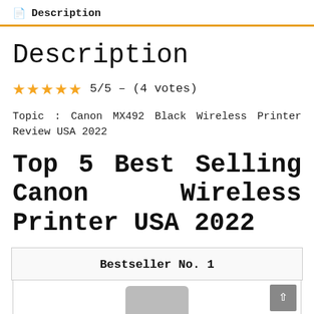Description
Description
★★★★★ 5/5 – (4 votes)
Topic : Canon MX492 Black Wireless Printer Review USA 2022
Top 5 Best Selling Canon Wireless Printer USA 2022
Bestseller No. 1